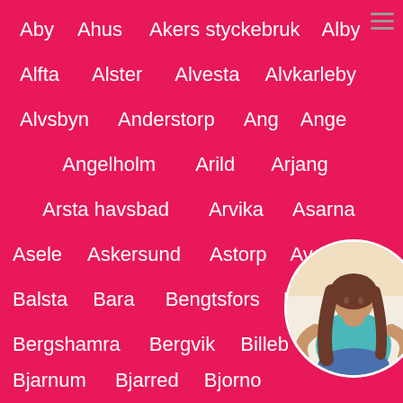Aby
Ahus
Akers styckebruk
Alby
Alfta
Alster
Alvesta
Alvkarleby
Alvsbyn
Anderstorp
Ang
Ange
Angelholm
Arild
Arjang
Arsta havsbad
Arvika
Asarna
Asele
Askersund
Astorp
Avesta
Balsta
Bara
Bengtsfors
Berga
Bergshamra
Bergvik
Billeberg
Bjarnum
Bjarred
Bjorno
Boliden
Boo
Boras
Bor...